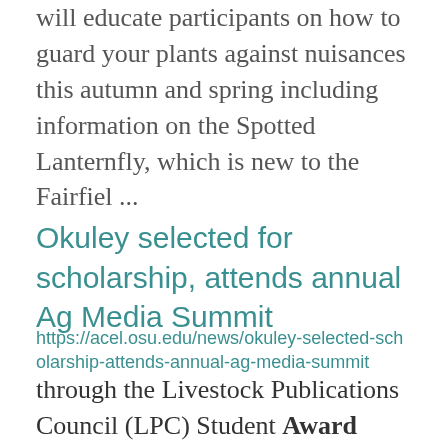will educate participants on how to guard your plants against nuisances this autumn and spring including information on the Spotted Lanternfly, which is new to the Fairfiel ...
Okuley selected for scholarship, attends annual Ag Media Summit
https://acel.osu.edu/news/okuley-selected-scholarship-attends-annual-ag-media-summit
through the Livestock Publications Council (LPC) Student Award Program as a finalist for the Forrest ... Bassford Student Award. This award recognizes and rewards excellence, leadership and encourages